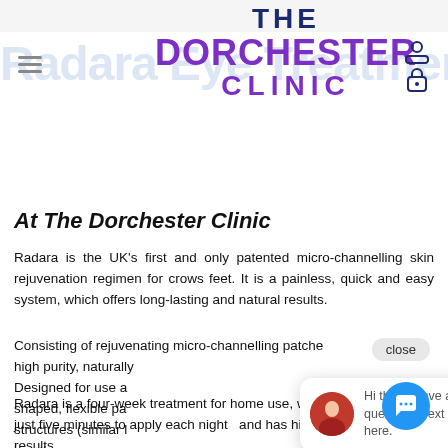[Figure (logo): The Dorchester Clinic logo with hamburger menu and user/lock icons]
At The Dorchester Clinic
Radara is the UK's first and only patented micro-channelling skin rejuvenation regimen for crows feet. It is a painless, quick and easy system, which offers long-lasting and natural results.
Consisting of rejuvenating micro-channelling patche high purity, naturally
Designed for use a shaped, flexible pa structures (similar l length.
Radara is a four-week treatment for home use, which just five minutes to apply each night  and has high-Im results.
[Figure (screenshot): Chat popup showing avatar photo and text: Hi there, have a question? Text us here.]